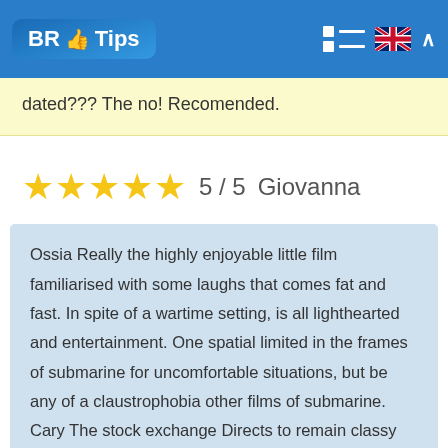BR Tips
dated??? The no! Recomended.
★★★★★  5 / 5   Giovanna
Ossia Really the highly enjoyable little film familiarised with some laughs that comes fat and fast. In spite of a wartime setting, is all lighthearted and entertainment. One spatial limited in the frames of submarine for uncomfortable situations, but be any of a claustrophobia other films of submarine. Cary The stock exchange Directs to remain classy likes order same agent